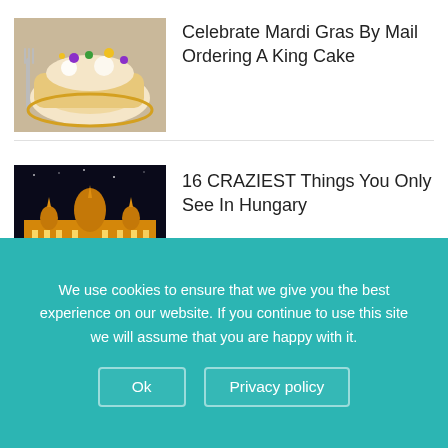[Figure (photo): King Cake with colorful decorations (Mardi Gras) on a plate with a fork]
Celebrate Mardi Gras By Mail Ordering A King Cake
[Figure (photo): Night photo of Hungarian Parliament Building illuminated with golden lights reflected in water]
16 CRAZIEST Things You Only See In Hungary
[Figure (photo): Partial thumbnails of three additional article images at bottom of page]
We use cookies to ensure that we give you the best experience on our website. If you continue to use this site we will assume that you are happy with it.
Ok    Privacy policy